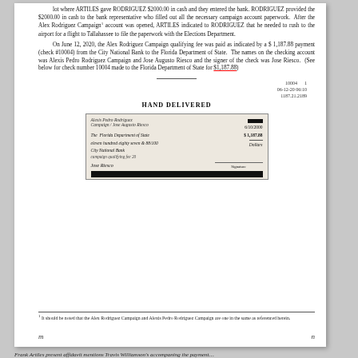lot where ARTILES gave RODRIGUEZ $2000.00 in cash and they entered the bank. RODRIGUEZ provided the $2000.00 in cash to the bank representative who filled out all the necessary campaign account paperwork. After the Alex Rodriguez Campaign1 account was opened, ARTILES indicated to RODRIGUEZ that he needed to rush to the airport for a flight to Tallahassee to file the paperwork with the Elections Department.
On June 12, 2020, the Alex Rodriguez Campaign qualifying fee was paid as indicated by a $ 1,187.88 payment (check #10004) from the City National Bank to the Florida Department of State. The names on the checking account was Alexis Pedro Rodriguez Campaign and Jose Augusto Riesco and the signer of the check was Jose Riesco. (See below for check number 10004 made to the Florida Department of State for $1,187.88)
[Figure (photo): Image of a check from City National Bank made payable to Florida Department of State for $1,187.88, check number 10004, dated 6/10/2000, with HAND DELIVERED stamp, routing and account numbers visible, with a black redaction bar at the bottom.]
1 It should be noted that the Alex Rodriguez Campaign and Alexis Pedro Rodriguez Campaign are one in the same as referenced herein.